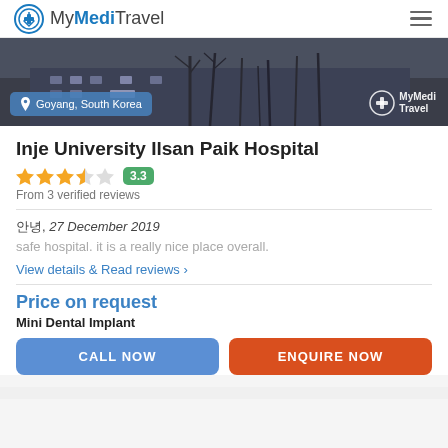MyMediTravel
[Figure (photo): Hero image of Inje University Ilsan Paik Hospital exterior in winter with bare trees. Overlay badge showing location 'Goyang, South Korea' and MyMediTravel logo watermark in lower right.]
Inje University Ilsan Paik Hospital
3.3 — From 3 verified reviews
안녕, 27 December 2019
safe hospital. it is a really nice place overall.
View details & Read reviews ›
Price on request
Mini Dental Implant
CALL NOW
ENQUIRE NOW